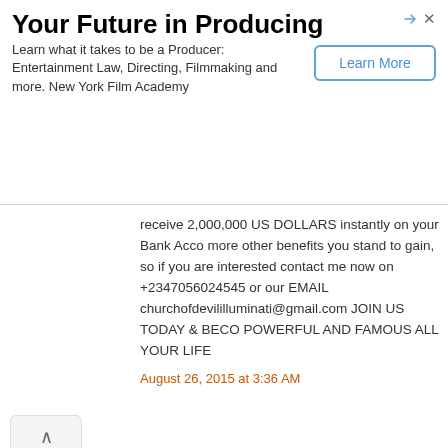[Figure (screenshot): Advertisement banner for New York Film Academy - Your Future in Producing]
receive 2,000,000 US DOLLARS instantly on your Bank Acco more other benefits you stand to gain, so if you are interested contact me now on +2347056024545 or our EMAIL churchofdevililluminati@gmail.com JOIN US TODAY & BECO POWERFUL AND FAMOUS ALL YOUR LIFE
August 26, 2015 at 3:36 AM
Unknown said...
Hello How can I explain this testimony to the public about a gr Illuminati were you find, riches, power and fame, are you a bu are you a pastor or politicians or a lecturer, are you a student ever you are in all over the world dose not matter to us, what m see you happy and rich, we are giving you the chance here to want to be in life, join the Illuminati secret brothers hood and g we offer every thing you need in life, if you are really ready to you join us now! How to Join Illuminati and become rich and fa Illuminati in united kingdom How to Join Illuminati in united sta Illuminati in South Africa How to Join Illuminati in South America